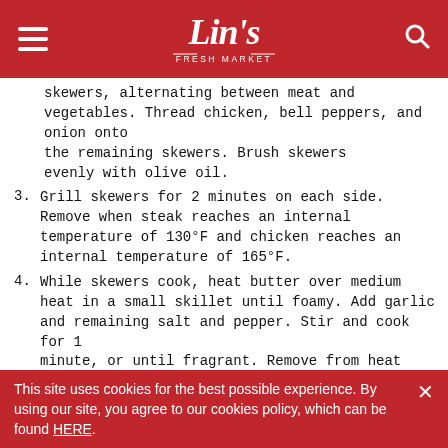Lin's Fresh Market
skewers, alternating between meat and vegetables. Thread chicken, bell peppers, and onion onto the remaining skewers. Brush skewers evenly with olive oil.
3. Grill skewers for 2 minutes on each side. Remove when steak reaches an internal temperature of 130°F and chicken reaches an internal temperature of 165°F.
4. While skewers cook, heat butter over medium heat in a small skillet until foamy. Add garlic and remaining salt and pepper. Stir and cook for 1 minute, or until fragrant. Remove from heat and brush butter over cooked skewers.
5. Garnish with parsley and serve
BACK TO BLOG HOME
This site uses cookies for the best possible experience. By using our site, you agree to our cookies policy, which can be found HERE.